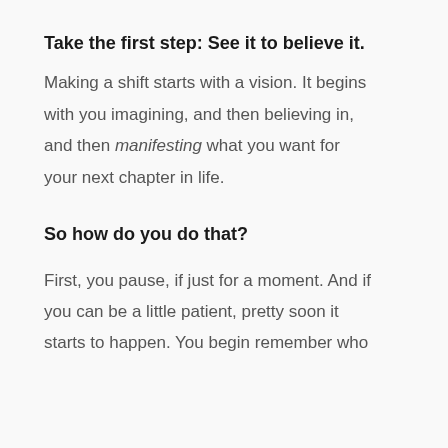Take the first step: See it to believe it.
Making a shift starts with a vision. It begins with you imagining, and then believing in, and then manifesting what you want for your next chapter in life.
So how do you do that?
First, you pause, if just for a moment. And if you can be a little patient, pretty soon it starts to happen. You begin remember who